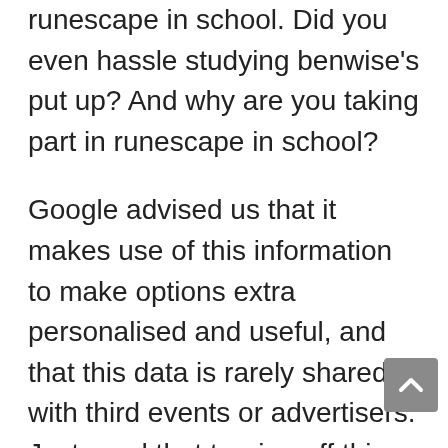runescape in school. Did you even hassle studying benwise's put up? And why are you taking part in runescape in school?
Google advised us that it makes use of this information to make options extra personalised and useful, and that this data is rarely shared with third events or advertisers. Just word that turning off this default setting does have some drawbacks. While Google's settings could appear intrusive to some, additionally they assist domesticate an extremely-customized on-line expertise, similar to serving to individuals discover close by companies as